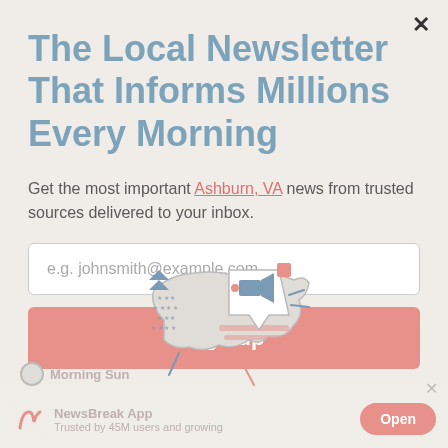The Local Newsletter That Informs Millions Every Morning
Get the most important Ashburn, VA news from trusted sources delivered to your inbox.
e.g. johnsmith@example.com
Sign up
[Figure (illustration): Illustration of a megaphone with American flag motif and speech bubble, representing local news]
NewsBreak App
Trusted by 45M users and growing
Morning Sun
Open